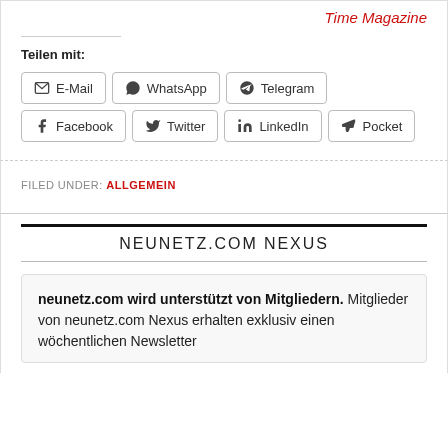Time Magazine
Teilen mit:
E-Mail | WhatsApp | Telegram | Facebook | Twitter | LinkedIn | Pocket
FILED UNDER: ALLGEMEIN
NEUNETZ.COM NEXUS
neunetz.com wird unterstützt von Mitgliedern. Mitglieder von neunetz.com Nexus erhalten exklusiv einen wöchentlichen Newsletter